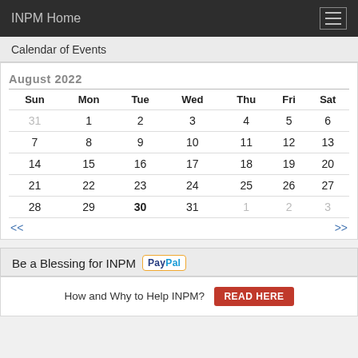INPM Home
Calendar of Events
| Sun | Mon | Tue | Wed | Thu | Fri | Sat |
| --- | --- | --- | --- | --- | --- | --- |
| 31 | 1 | 2 | 3 | 4 | 5 | 6 |
| 7 | 8 | 9 | 10 | 11 | 12 | 13 |
| 14 | 15 | 16 | 17 | 18 | 19 | 20 |
| 21 | 22 | 23 | 24 | 25 | 26 | 27 |
| 28 | 29 | 30 | 31 | 1 | 2 | 3 |
Be a Blessing for INPM
How and Why to Help INPM? Read Here